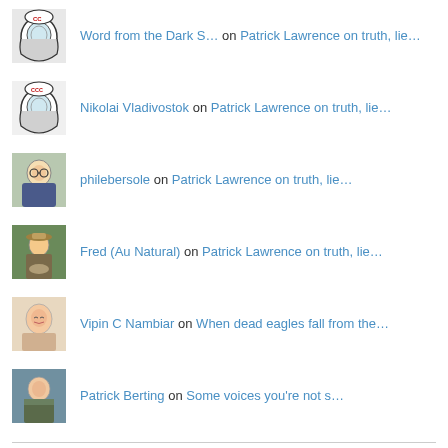Word from the Dark S… on Patrick Lawrence on truth, lie…
Nikolai Vladivostok on Patrick Lawrence on truth, lie…
philebersole on Patrick Lawrence on truth, lie…
Fred (Au Natural) on Patrick Lawrence on truth, lie…
Vipin C Nambiar on When dead eagles fall from the…
Patrick Berting on Some voices you're not s…
Currently most popular
The geography of American religion